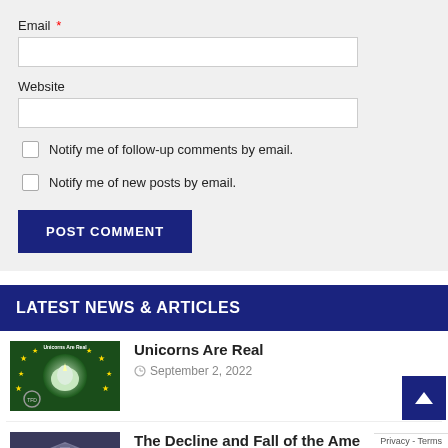Email *
Website
Notify me of follow-up comments by email.
Notify me of new posts by email.
POST COMMENT
LATEST NEWS & ARTICLES
Unicorns Are Real
September 2, 2022
The Decline and Fall of the American Empire – Doug Casey